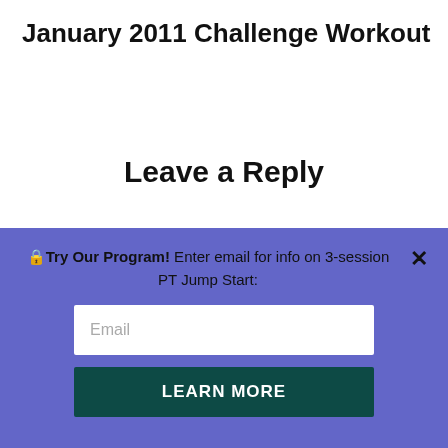January 2011 Challenge Workout
Leave a Reply
Your email address will not be published. Required fields are marked *
Comment
🔒Try Our Program!  Enter email for info on 3-session PT Jump Start:
Email
LEARN MORE